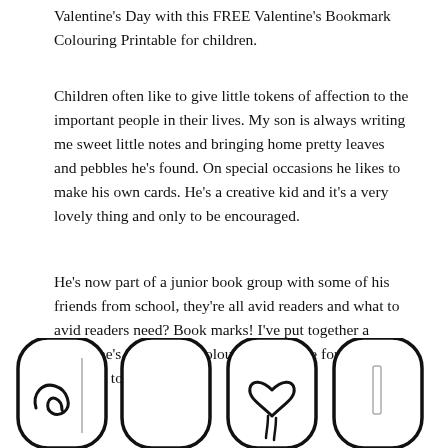Valentine's Day with this FREE Valentine's Bookmark Colouring Printable for children.
Children often like to give little tokens of affection to the important people in their lives. My son is always writing me sweet little notes and bringing home pretty leaves and pebbles he's found. On special occasions he likes to make his own cards. He's a creative kid and it's a very lovely thing and only to be encouraged.
He's now part of a junior book group with some of his friends from school, they're all avid readers and what to avid readers need? Book marks! I've put together a Valentine's Bookmark Colouring Printable for those who just love to read.
[Figure (illustration): Four bookmark coloring designs shown partially at the bottom of the page: a spiral/swirl design, a plain rounded bookmark, a heart design, and a plain rounded bookmark with a small rectangle element.]